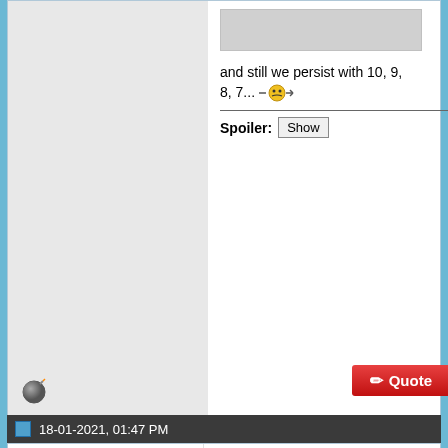[Figure (screenshot): Gray placeholder box at top of forum post]
and still we persist with 10, 9, 8, 7... [sleepy emoji]
Spoiler: Show
18-01-2021, 01:47 PM
LukeB
Life imitates art
[Figure (photo): Avatar photo of a woman with long brown hair smiling]
Join Date: Jul 2012
Location: Humpty Doo
1. Miley Cyrus - Midnight Sky
2. Dua Lipa - Physical
3. Grimes - Delete Forever
4. Jessie Ware - What's Your Pleasure
5. Rina Sawayama - Comme Des Garcons
6. Cardi B & Megan Thee Stallion - WAP
7. Lady Gaga & Ariana Grande - Rain On
8. Doja Cat - Say So
9. Little Mix - Sweet Melody
10. Roisin Murphy - Murphy's Law
[Figure (photo): Wood grain texture image at bottom]